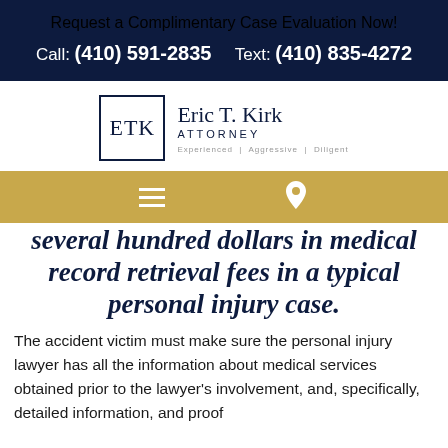Request a Complimentary Case Evaluation Now!
Call: (410) 591-2835     Text: (410) 835-4272
[Figure (logo): Eric T. Kirk Attorney logo with ETK monogram in a square box and tagline: Experienced | Aggressive | Diligent]
[Figure (other): Gold navigation bar with hamburger menu icon on left and location pin icon on right]
several hundred dollars in medical record retrieval fees in a typical personal injury case.
The accident victim must make sure the personal injury lawyer has all the information about medical services obtained prior to the lawyer's involvement, and, specifically, detailed information, and proof